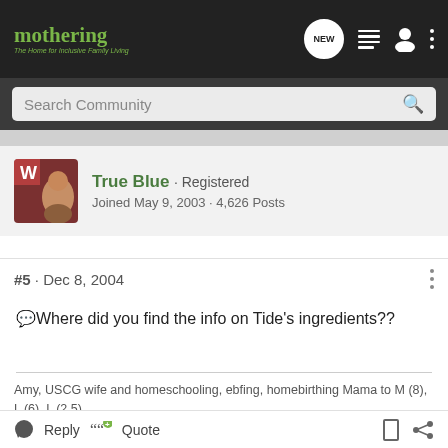mothering · The Home for Inclusive Family Living
Search Community
True Blue · Registered
Joined May 9, 2003 · 4,626 Posts
#5 · Dec 8, 2004
Where did you find the info on Tide's ingredients??
Amy, USCG wife and homeschooling, ebfing, homebirthing Mama to M (8), L (6), L (2.5)
Reply   Quote